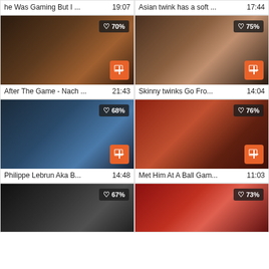[Figure (screenshot): Video thumbnail grid - top partial row: 'he Was Gaming But I ...' 19:07, 'Asian twink has a soft ...' 17:44]
[Figure (screenshot): Video thumbnail: After The Game - Nach ... 21:43, like 70%]
[Figure (screenshot): Video thumbnail: Skinny twinks Go Fro... 14:04, like 75%]
[Figure (screenshot): Video thumbnail: Philippe Lebrun Aka B... 14:48, like 68%]
[Figure (screenshot): Video thumbnail: Met Him At A Ball Gam... 11:03, like 76%]
[Figure (screenshot): Video thumbnail (partial bottom): like 67%]
[Figure (screenshot): Video thumbnail (partial bottom): like 73%]